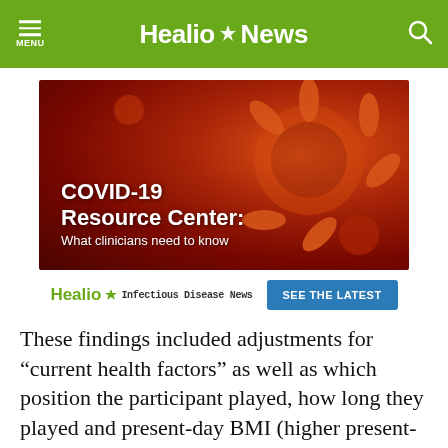Healio News
[Figure (illustration): COVID-19 Resource Center promotional image showing virus particles on a red background with text: COVID-19 Resource Center: What clinicians need to know]
[Figure (logo): Healio Infectious Disease News logo with SEE THE LATEST button]
These findings included adjustments for “current health factors” as well as which position the participant played, how long they played and present-day BMI (higher present-day measures